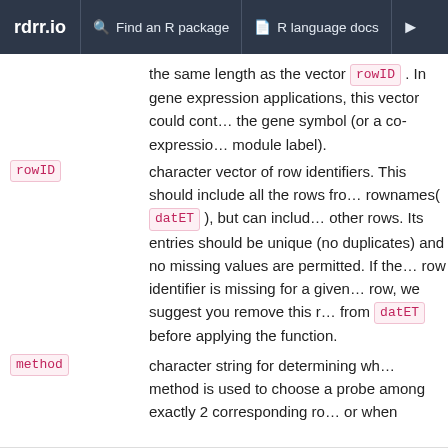rdrr.io   Find an R package   R language docs
the same length as the vector rowID . In gene expression applications, this vector could contain the gene symbol (or a co-expression module label).
rowID   character vector of row identifiers. This should include all the rows from rownames( datET ), but can include other rows. Its entries should be unique (no duplicates) and no missing values are permitted. If the row identifier is missing for a given row, we suggest you remove this row from datET before applying the function.
method   character string for determining which method is used to choose a probe among exactly 2 corresponding rows, or when